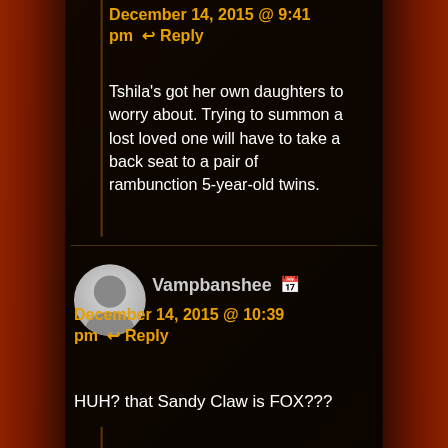December 14, 2015 @ 9:41 pm  ↩ Reply
Tshila's got her own daughters to worry about. Trying to summon a lost loved one will have to take a back seat to a pair of rambunction 5-year-old twins.
[Figure (illustration): User avatar placeholder - grey silhouette circle for user Vampbanshee]
Vampbanshee 🗓
December 14, 2015 @ 10:39 pm  ↩ Reply
HUH? that Sandy Claw is FOX???